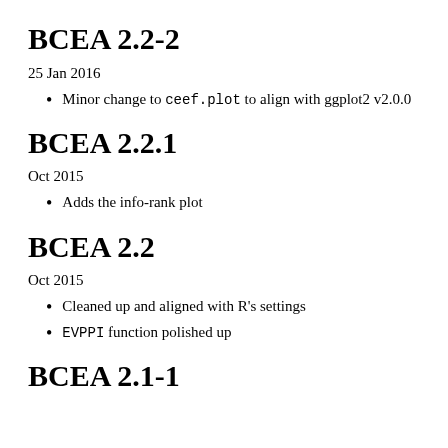BCEA 2.2-2
25 Jan 2016
Minor change to ceef.plot to align with ggplot2 v2.0.0
BCEA 2.2.1
Oct 2015
Adds the info-rank plot
BCEA 2.2
Oct 2015
Cleaned up and aligned with R's settings
EVPPI function polished up
BCEA 2.1-1